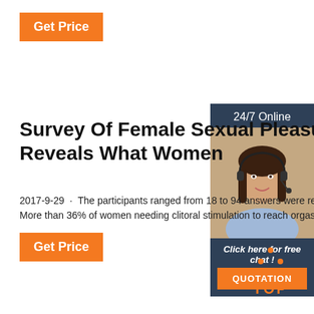[Figure (infographic): Orange 'Get Price' button at top left]
[Figure (infographic): Advertisement panel on the right side with '24/7 Online' label, a photo of a woman with headset, 'Click here for free chat!' text, and an orange 'QUOTATION' button]
Survey Of Female Sexual Pleasu Reveals What Women
2017-9-29 · The participants ranged from 18 to 94 answers were revealing: More than 36% of women needing clitoral stimulation to reach orgasm, while
[Figure (infographic): Orange 'Get Price' button at bottom left]
[Figure (logo): Orange dotted triangle 'TOP' logo at bottom right]